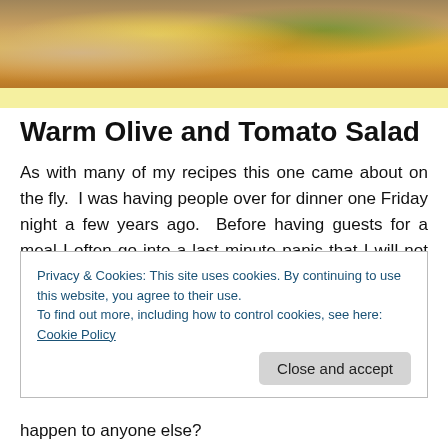[Figure (photo): Photo of a warm olive and tomato salad dish with yellow and orange colors, partially visible at the top of the page]
Warm Olive and Tomato Salad
As with many of my recipes this one came about on the fly.  I was having people over for dinner one Friday night a few years ago.  Before having guests for a meal I often go into a last minute panic that I will not have enough food.  The funny thing is that I ALWAYS have more than enough.  I am constantly sending people home with packages of
Privacy & Cookies: This site uses cookies. By continuing to use this website, you agree to their use.
To find out more, including how to control cookies, see here: Cookie Policy
happen to anyone else?